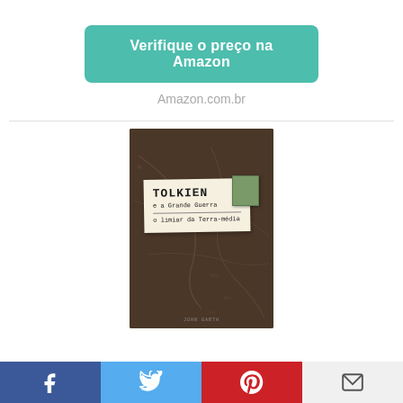Verifique o preço na Amazon
Amazon.com.br
[Figure (photo): Book cover of 'Tolkien e a Grande Guerra – o limiar da Terra-média' showing a dark brown map background with a paper label sticker and a green postage stamp.]
Social share buttons: Facebook, Twitter, Pinterest, Email